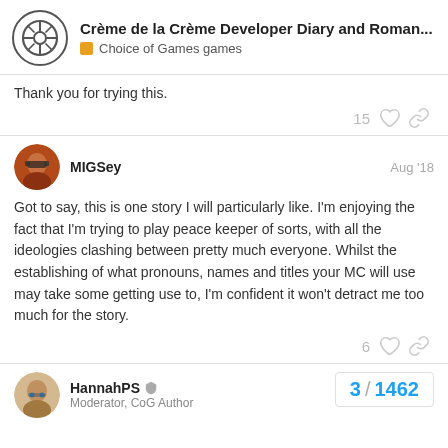Crème de la Crème Developer Diary and Roman... | Choice of Games games
Thank you for trying this.
MIGSey  Aug '18
Got to say, this is one story I will particularly like. I'm enjoying the fact that I'm trying to play peace keeper of sorts, with all the ideologies clashing between pretty much everyone. Whilst the establishing of what pronouns, names and titles your MC will use may take some getting use to, I'm confident it won't detract me too much for the story.
HannahPS  Moderator, CoG Author
3 / 1462